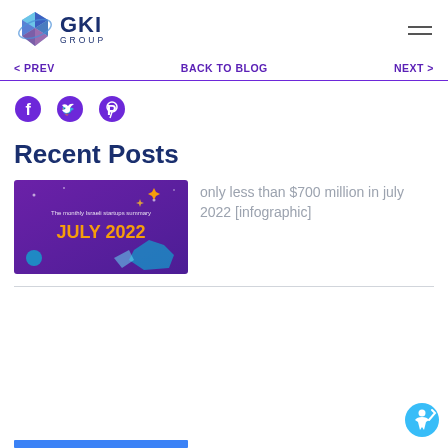GKI GROUP
< PREV   BACK TO BLOG   NEXT >
[Figure (illustration): Social sharing icons: Facebook, Twitter, Pinterest in purple]
Recent Posts
[Figure (illustration): Purple banner image reading 'The monthly Israeli startups summary JULY 2022']
only less than $700 million in july 2022 [infographic]